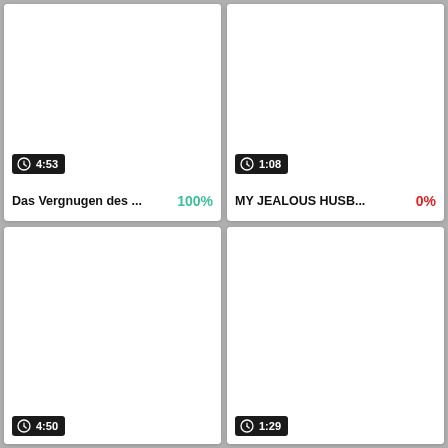[Figure (screenshot): Video thumbnail card top-left: white thumbnail area, duration badge '4:53', title 'Das Vergnugen des ...', completion '100%' in green]
[Figure (screenshot): Video thumbnail card top-right: white thumbnail area, duration badge '1:08', title 'MY JEALOUS HUSB...', completion '0%' in red]
[Figure (screenshot): Video thumbnail card bottom-left: white thumbnail area, duration badge '4:50' partially visible]
[Figure (screenshot): Video thumbnail card bottom-right: white thumbnail area, duration badge '1:29' partially visible]